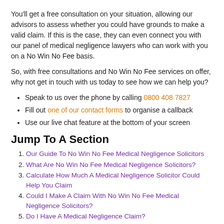You'll get a free consultation on your situation, allowing our advisors to assess whether you could have grounds to make a valid claim. If this is the case, they can even connect you with our panel of medical negligence lawyers who can work with you on a No Win No Fee basis.
So, with free consultations and No Win No Fee services on offer, why not get in touch with us today to see how we can help you?
Speak to us over the phone by calling 0800 408 7827
Fill out one of our contact forms to organise a callback
Use our live chat feature at the bottom of your screen
Jump To A Section
Our Guide To No Win No Fee Medical Negligence Solicitors
What Are No Win No Fee Medical Negligence Solicitors?
Calculate How Much A Medical Negligence Solicitor Could Help You Claim
Could I Make A Claim With No Win No Fee Medical Negligence Solicitors?
Do I Have A Medical Negligence Claim?
Clinical Negligence Statistics
NHS Negligence Claims
Types Of Cases Handled By Medical Negligence Solicitors
Is There A Time Limit For Making A Medical Negligence Claim?